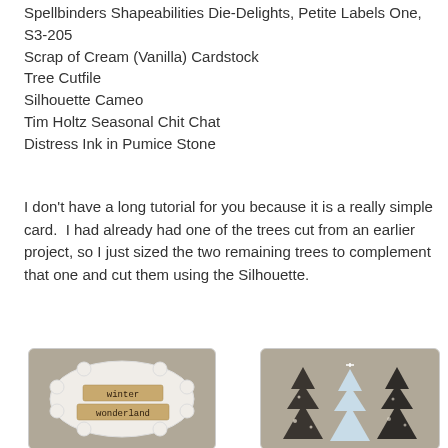Spellbinders Shapeabilities Die-Delights, Petite Labels One, S3-205
Scrap of Cream (Vanilla) Cardstock
Tree Cutfile
Silhouette Cameo
Tim Holtz Seasonal Chit Chat
Distress Ink in Pumice Stone
I don't have a long tutorial for you because it is a really simple card.  I had already had one of the trees cut from an earlier project, so I just sized the two remaining trees to complement that one and cut them using the Silhouette.
[Figure (photo): Photo of a cream/white decorative label shape on tan background with 'winter wonderland' stamp text on kraft paper strips]
[Figure (photo): Photo of three Christmas tree cutouts on tan background — trees with black floral pattern, blue glitter, and black pattern]